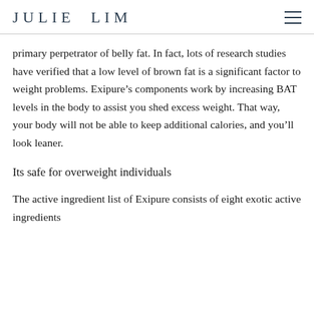JULIE LIM
primary perpetrator of belly fat. In fact, lots of research studies have verified that a low level of brown fat is a significant factor to weight problems. Exipure’s components work by increasing BAT levels in the body to assist you shed excess weight. That way, your body will not be able to keep additional calories, and you’ll look leaner.
Its safe for overweight individuals
The active ingredient list of Exipure consists of eight exotic active ingredients